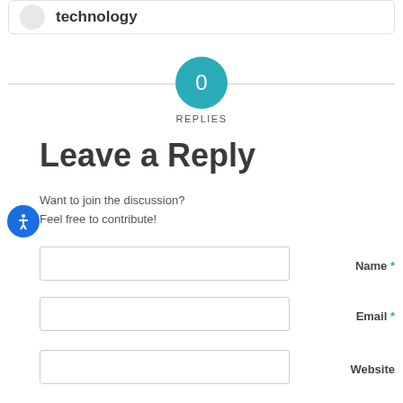technology
0
REPLIES
Leave a Reply
Want to join the discussion?
Feel free to contribute!
Name *
Email *
Website